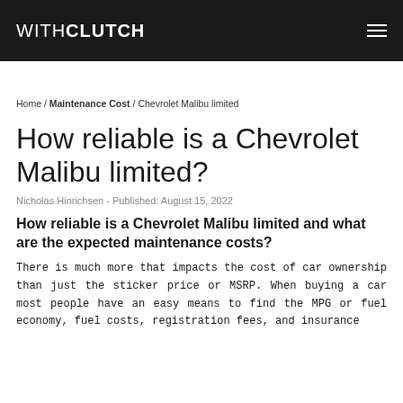WITHCLUTCH
Home / Maintenance Cost / Chevrolet Malibu limited
How reliable is a Chevrolet Malibu limited?
Nicholas Hinrichsen - Published: August 15, 2022
How reliable is a Chevrolet Malibu limited and what are the expected maintenance costs?
There is much more that impacts the cost of car ownership than just the sticker price or MSRP. When buying a car most people have an easy means to find the MPG or fuel economy, fuel costs, registration fees, and insurance